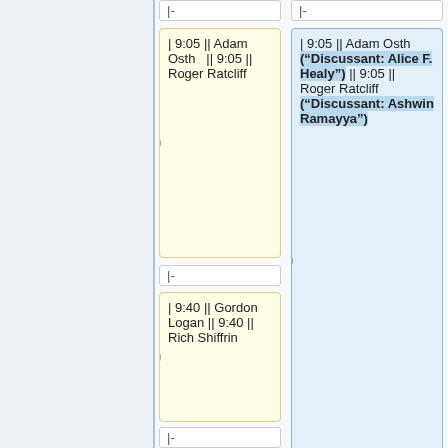|-
|-
| 9:05 || Adam Osth  || 9:05 || Roger Ratcliff
| 9:05 || Adam Osth ("Discussant: Alice F. Healy") || 9:05 || Roger Ratcliff ("Discussant: Ashwin Ramayya")
|-
|-
| 9:40 || Gordon Logan || 9:40 || Rich Shiffrin
| 9:40 || Gordon Logan ("Discussant: Geoff Ward") || 9:40 || Rich Shiffrin ("Discussant: Rosie Cowell")
|-
|-